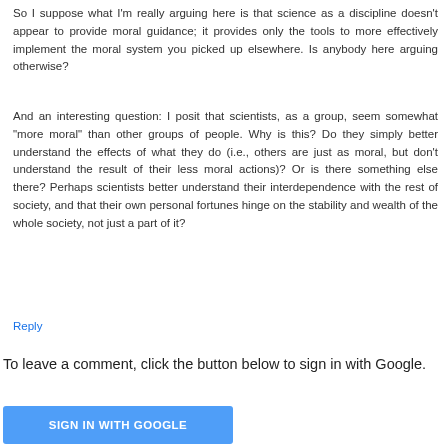So I suppose what I'm really arguing here is that science as a discipline doesn't appear to provide moral guidance; it provides only the tools to more effectively implement the moral system you picked up elsewhere. Is anybody here arguing otherwise?
And an interesting question: I posit that scientists, as a group, seem somewhat "more moral" than other groups of people. Why is this? Do they simply better understand the effects of what they do (i.e., others are just as moral, but don't understand the result of their less moral actions)? Or is there something else there? Perhaps scientists better understand their interdependence with the rest of society, and that their own personal fortunes hinge on the stability and wealth of the whole society, not just a part of it?
Reply
To leave a comment, click the button below to sign in with Google.
[Figure (other): Blue 'SIGN IN WITH GOOGLE' button]